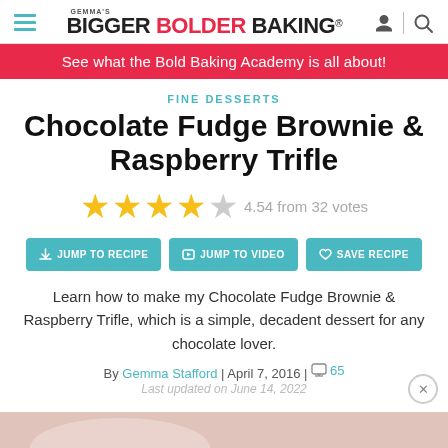GEMMA'S BIGGER BOLDER BAKING®
See what the Bold Baking Academy is all about!
FINE DESSERTS
Chocolate Fudge Brownie & Raspberry Trifle
4.54 from 32 votes
JUMP TO RECIPE | JUMP TO VIDEO | SAVE RECIPE
Learn how to make my Chocolate Fudge Brownie & Raspberry Trifle, which is a simple, decadent dessert for any chocolate lover.
By Gemma Stafford | April 7, 2016 | 65
Last updated on June 14, 2022